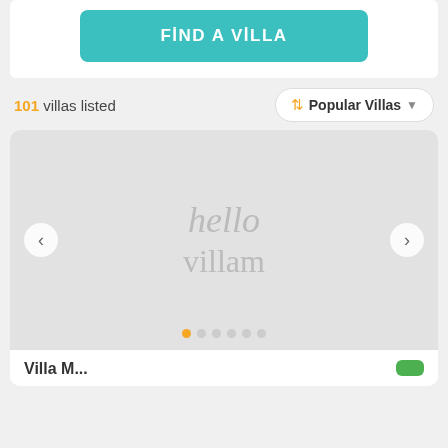[Figure (screenshot): A teal 'FIND A VILLA' button centered in a white card area at the top of the page.]
101 villas listed
Popular Villas
[Figure (screenshot): A villa listing card with a placeholder image showing 'hello villam' logo in gray on a light gray background, with left/right navigation arrows and dot indicators at the bottom.]
Villa...